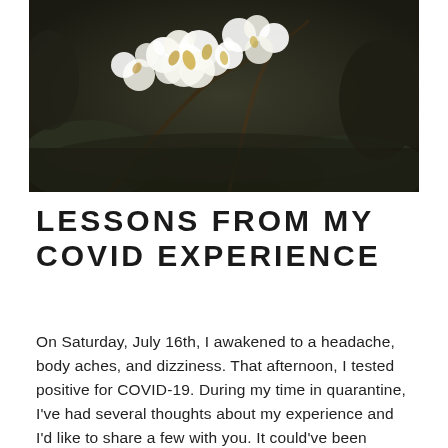[Figure (photo): Photograph of white blossoming flowers with golden-green leaves on a tree or shrub, photographed outdoors with dark background foliage.]
LESSONS FROM MY COVID EXPERIENCE
On Saturday, July 16th, I awakened to a headache, body aches, and dizziness. That afternoon, I tested positive for COVID-19. During my time in quarantine, I've had several thoughts about my experience and I'd like to share a few with you. It could've been worse.I'm vaccinated but remember, vaccination doesn't prevent a person from contracting …